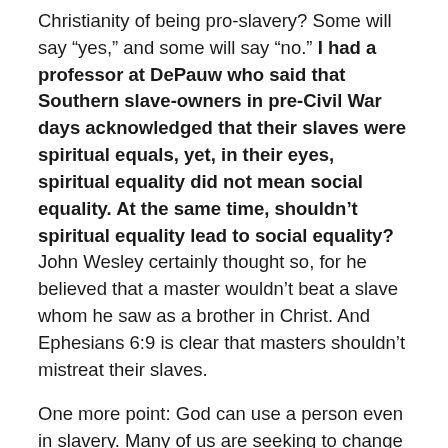Christianity of being pro-slavery? Some will say “yes,” and some will say “no.” I had a professor at DePauw who said that Southern slave-owners in pre-Civil War days acknowledged that their slaves were spiritual equals, yet, in their eyes, spiritual equality did not mean social equality. At the same time, shouldn’t spiritual equality lead to social equality? John Wesley certainly thought so, for he believed that a master wouldn’t beat a slave whom he saw as a brother in Christ. And Ephesians 6:9 is clear that masters shouldn’t mistreat their slaves.
One more point: God can use a person even in slavery. Many of us are seeking to change our circumstances, but should that be our sole focus? Maybe God can use us in an unpleasant situation. That’s not to say that slaves shouldn’t have sought their freedom, since freedom is a